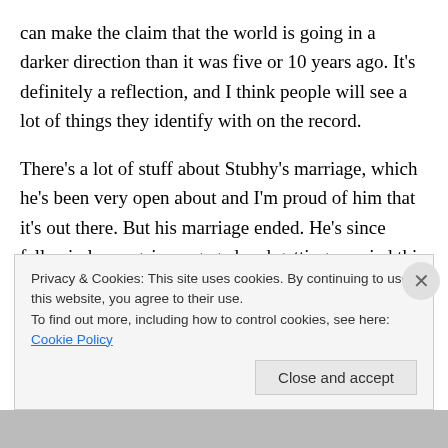can make the claim that the world is going in a darker direction than it was five or 10 years ago. It's definitely a reflection, and I think people will see a lot of things they identify with on the record.
There's a lot of stuff about Stubhy's marriage, which he's been very open about and I'm proud of him that it's out there. But his marriage ended. He's since fallen in love again, engaged and getting married this summer so it's been this roller coaster in a lot of ways. He's been very transparent about that. There are a lot of lines on the
Privacy & Cookies: This site uses cookies. By continuing to use this website, you agree to their use.
To find out more, including how to control cookies, see here: Cookie Policy